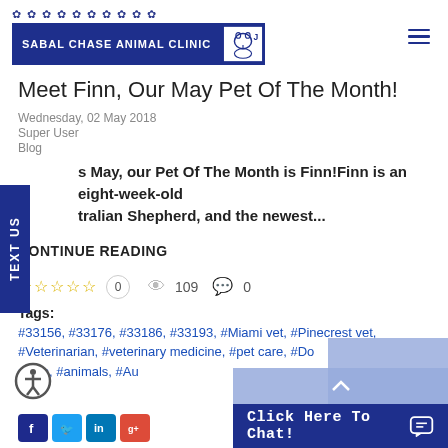SABAL CHASE ANIMAL CLINIC
Meet Finn, Our May Pet Of The Month!
Wednesday, 02 May 2018
Super User
Blog
s May, our Pet Of The Month is Finn!Finn is an eight-week-old stralian Shepherd, and the newest...
CONTINUE READING
0  109  0
Tags:
#33156, #33176, #33186, #33193, #Miami vet, #Pinecrest vet, #Veterinarian, #veterinary medicine, #pet care, #Do... pies, #animals, #Au...
Click Here To Chat!